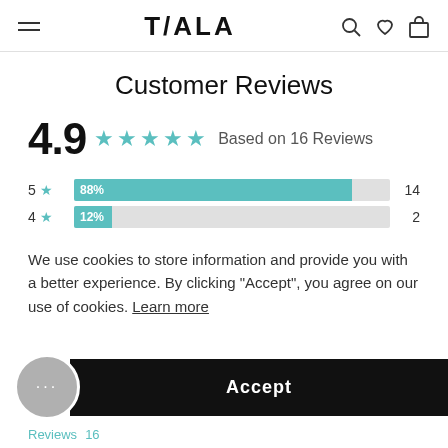TALA
Customer Reviews
[Figure (bar-chart): Customer Reviews Rating]
We use cookies to store information and provide you with a better experience. By clicking "Accept", you agree on our use of cookies. Learn more
Accept
Reviews 16